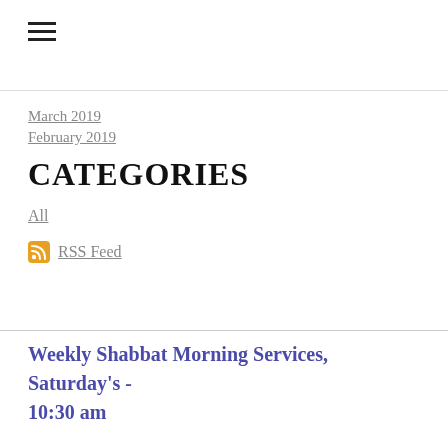≡
March 2019
February 2019
CATEGORIES
All
RSS Feed
Weekly Shabbat Morning Services, Saturday's - 10:30 am
Beit Hallel Messianic Congregation
3801 N. US Hwy. 441
Ocala, FL. 34475